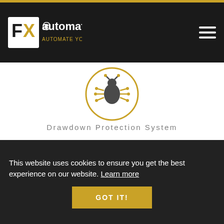FX automater - AUTOMATE YOUR TRADING
[Figure (illustration): Gold circular icon with a bug/drawdown protection symbol in dark gray on white background]
Drawdown Protection System
[Figure (illustration): Gold circular icon with a browser/loading screen icon in dark gray on white background]
This website uses cookies to ensure you get the best experience on our website. Learn more
GOT IT!